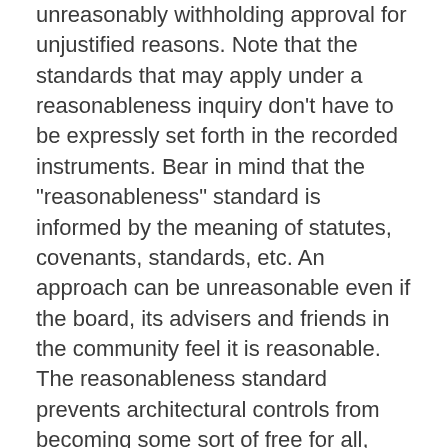unreasonably withholding approval for unjustified reasons. Note that the standards that may apply under a reasonableness inquiry don't have to be expressly set forth in the recorded instruments. Bear in mind that the "reasonableness" standard is informed by the meaning of statutes, covenants, standards, etc. An approach can be unreasonable even if the board, its advisers and friends in the community feel it is reasonable. The reasonableness standard prevents architectural controls from becoming some sort of free for all, whereby the committee and board members and their friends get what they want out of the process, and those who want to improve their properties in other ways have their applications unjustifiably denied.
Having different standards makes sense. The exercise of architectural controls in a community is a quasi-governmental function, and not analogous to managing a